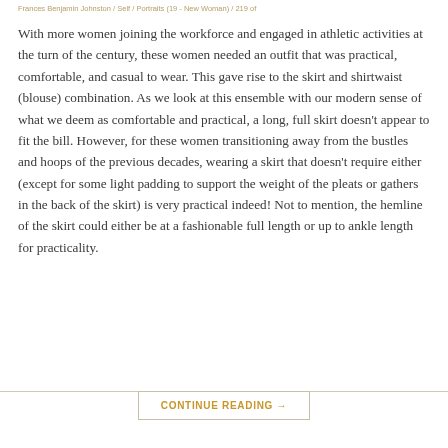Frances Benjamin Johnston / Self / Portraits (19 - New Woman) / 219 of
With more women joining the workforce and engaged in athletic activities at the turn of the century, these women needed an outfit that was practical, comfortable, and casual to wear. This gave rise to the skirt and shirtwaist (blouse) combination. As we look at this ensemble with our modern sense of what we deem as comfortable and practical, a long, full skirt doesn’t appear to fit the bill. However, for these women transitioning away from the bustles and hoops of the previous decades, wearing a skirt that doesn’t require either (except for some light padding to support the weight of the pleats or gathers in the back of the skirt) is very practical indeed! Not to mention, the hemline of the skirt could either be at a fashionable full length or up to ankle length for practicality.
CONTINUE READING →